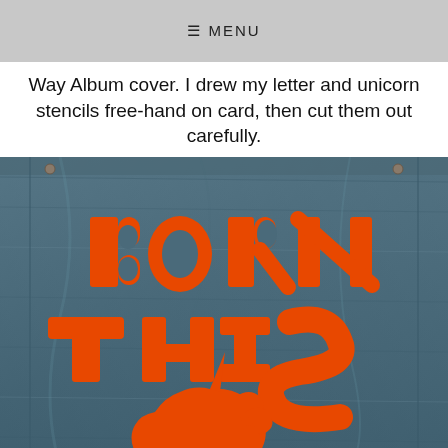≡ MENU
Way Album cover. I drew my letter and unicorn stencils free-hand on card, then cut them out carefully.
[Figure (photo): Denim jacket back with orange paper cutout letters spelling 'BORN THIS' and a unicorn silhouette cutout below, referencing the Born This Way album cover.]